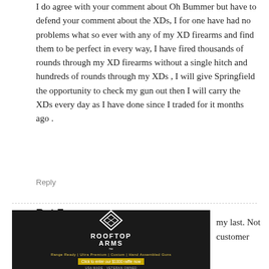I do agree with your comment about Oh Bummer but have to defend your comment about the XDs, I for one have had no problems what so ever with any of my XD firearms and find them to be perfect in every way, I have fired thousands of rounds through my XD firearms without a single hitch and hundreds of rounds through my XDs , I will give Springfield the opportunity to check my gun out then I will carry the XDs every day as I have done since I traded for it months ago .
Reply
Bot F...
[Figure (photo): Rooftop Arms advertisement banner with logo, diamond shape, firearms imagery, tagline 'Range Ready | Ultra Premium | Custom | Hand Assembled Guns', call to action 'Click to enter our $1000 raffle now', 'USA MADE · VETERAN OWNED']
my last. Not customer